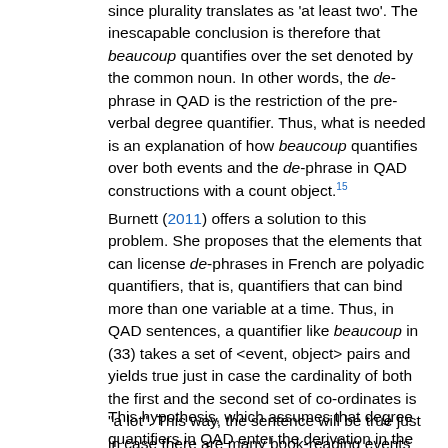since plurality translates as 'at least two'. The inescapable conclusion is therefore that beaucoup quantifies over the set denoted by the common noun. In other words, the de-phrase in QAD is the restriction of the pre-verbal degree quantifier. Thus, what is needed is an explanation of how beaucoup quantifies over both events and the de-phrase in QAD constructions with a count object.15
Burnett (2011) offers a solution to this problem. She proposes that the elements that can license de-phrases in French are polyadic quantifiers, that is, quantifiers that can bind more than one variable at a time. Thus, in QAD sentences, a quantifier like beaucoup in (33) takes a set of <event, object> pairs and yields true just in case the cardinality of both the first and the second set of co-ordinates is "a lot". This way, the sentence will be true just in case there are many book-reading events and many books involved in those events.
This hypothesis, which assumes that degree quantifiers in QAD enter the derivation in the position in which they